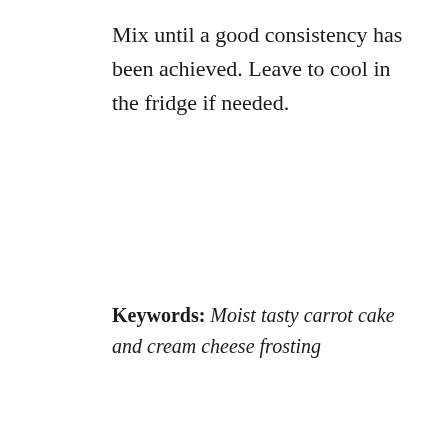Mix until a good consistency has been achieved. Leave to cool in the fridge if needed.
Keywords: Moist tasty carrot cake and cream cheese frosting